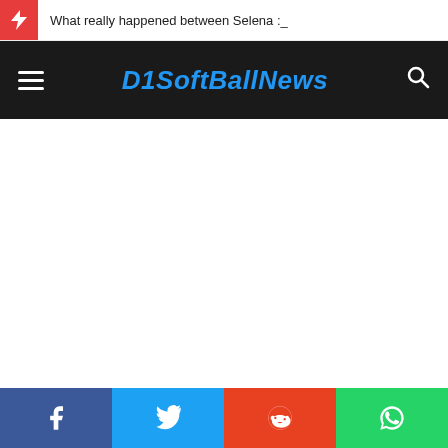What really happened between Selena :_
D1SoftBallNews
[Figure (screenshot): White blank content area of a news website]
[Figure (infographic): Social share bar with Facebook, Twitter, Reddit, WhatsApp buttons]